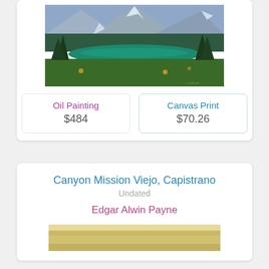[Figure (photo): Oil painting of a mountain lake scene with evergreen trees in the foreground, a turquoise lake in the middle ground, and snow-capped mountains in the background. Impressionist landscape style.]
Oil Painting
$484
Canvas Print
$70.26
Canyon Mission Viejo, Capistrano
Undated
Edgar Alwin Payne
[Figure (photo): Partial view of a second painting, warm golden/tan tones, bottom of page.]